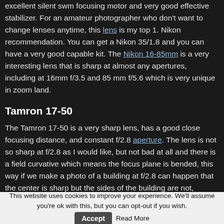excellent silent swm focusing motor and very good effective stabilizer. For an amateur photographer who don't want to change lenses anytime, this lens is my top 1. Nikon recommendation. You can get a Nikon 35/1.8 and you can have a very good capable kit. The Nikon 16-85mm is a very interesting lens that is sharp at almost any apertures, including at 16mm f/3.5 and 85 mm f/5.6 which is very unique in zoom land.
Tamron 17-50
The Tamron 17-50 is a very sharp lens, has a good close focusing distance, and constant f/2.8 aperture. The lens is not so sharp at f/2.8 as I would like, but not bad at all and there is a field curvative which means the focus plane is bended, this way if we make a photo of a building at f/2.8 can happen that the center is sharp but the sides of the building are not, because these are not on the focus plane. At f/5.6 the Tamron is very sharp, sharper than many much more
This website uses cookies to improve your experience. We'll assume you're ok with this, but you can opt-out if you wish.